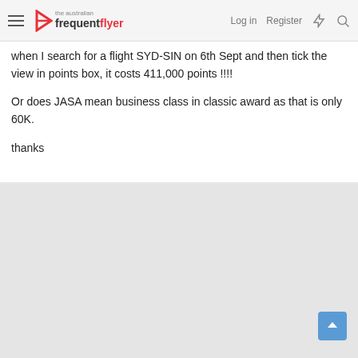the australian frequent flyer — Log in | Register
when I search for a flight SYD-SIN on 6th Sept and then tick the view in points box, it costs 411,000 points !!!!
Or does JASA mean business class in classic award as that is only 60K.
thanks